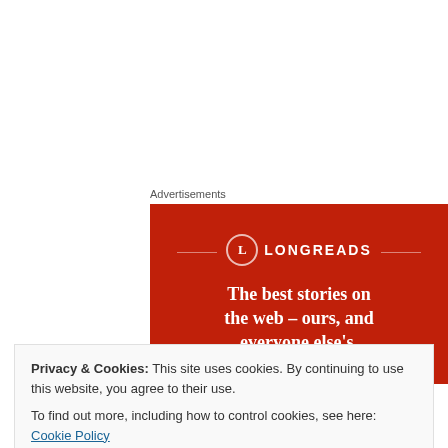Advertisements
[Figure (logo): Longreads advertisement banner — red background with circular L logo, brand name LONGREADS, and tagline: The best stories on the web – ours, and everyone else's.]
Betty Boop is completely blank in this cartoon, and she still
Privacy & Cookies: This site uses cookies. By continuing to use this website, you agree to their use.
To find out more, including how to control cookies, see here: Cookie Policy
so far removed from the happy world of Walt Disney, and